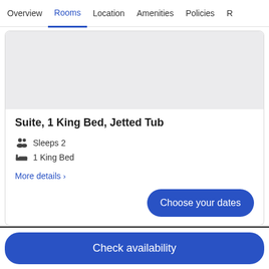Overview | Rooms | Location | Amenities | Policies | R...
[Figure (photo): Hotel room image placeholder (light grey area)]
Suite, 1 King Bed, Jetted Tub
Sleeps 2
1 King Bed
More details >
Choose your dates
Check availability